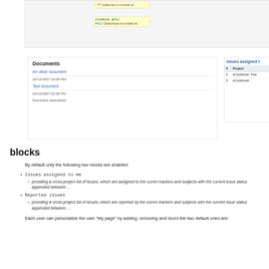[Figure (screenshot): Screenshot of a project management interface showing a Documents panel with document links and dates, and a partially visible Issues assigned panel with a table showing issue numbers and project names.]
blocks
By default only the following two blocks are enabled:
Issues assigned to me
providing a cross-project list of issues, which are assigned to the current trackers and subjects with the current issue status appended between ...
Reported issues
providing a cross-project list of issues, which are reported by the current trackers and subjects with the current issue status appended between ...
Each user can personalize the own "My page" by adding, removing and reordering... the two default ones are: